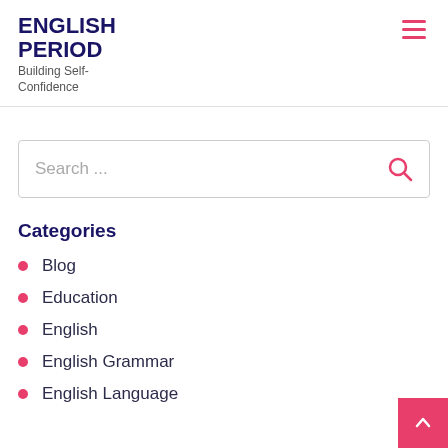ENGLISH PERIOD
Building Self-Confidence
[Figure (other): Hamburger menu icon (three horizontal pink lines)]
[Figure (other): Search bar with placeholder text 'Search ...' and a pink magnifying glass icon]
Categories
Blog
Education
English
English Grammar
English Language
English Vocabulary
Health & Fitness
IELTS Vocabulary
[Figure (other): Pink back-to-top button with an upward chevron arrow in the bottom right corner]